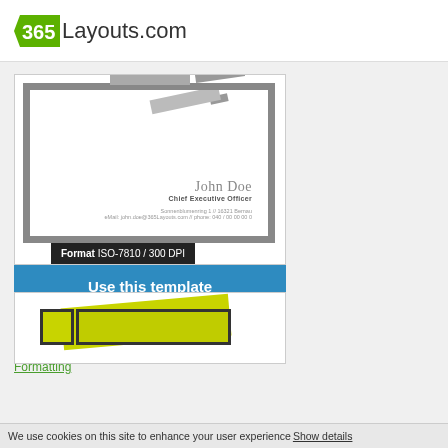365Layouts.com
[Figure (illustration): Business card template preview showing a white card with dark border, angled corner decoration, name John Doe, title Chief Executive Officer, address Sonnenblumenring 1 // 16321 Bernau, eMail: john.doe@365Layouts.com // phone: 040 / 00 00 00 0. Format label reads 'Format ISO-7810 / 300 DPI']
Use this template
Cards dizayna xwe
8 years, 4 months in Business Card / Formatting
[Figure (illustration): Second business card template preview with yellow-green colored card design with dark border]
We use cookies on this site to enhance your user experience Show details